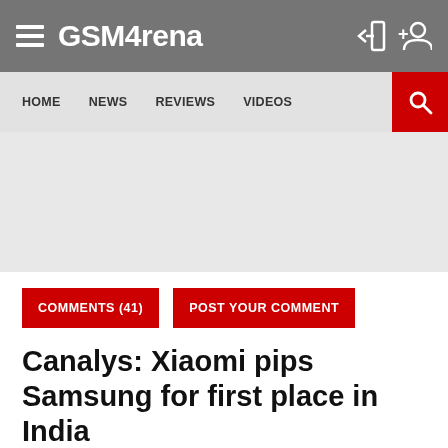GSMArena
HOME  NEWS  REVIEWS  VIDEOS
[Figure (other): Advertisement placeholder area]
COMMENTS (41)  POST YOUR COMMENT
Canalys: Xiaomi pips Samsung for first place in India
PETER, 24 JANUARY 2018